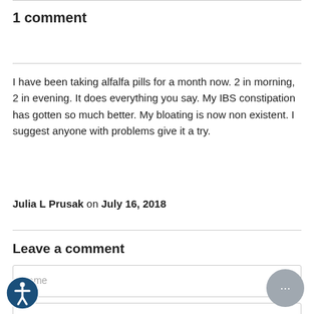1 comment
I have been taking alfalfa pills for a month now. 2 in morning, 2 in evening. It does everything you say. My IBS constipation has gotten so much better. My bloating is now non existent. I suggest anyone with problems give it a try.
Julia L Prusak on July 16, 2018
Leave a comment